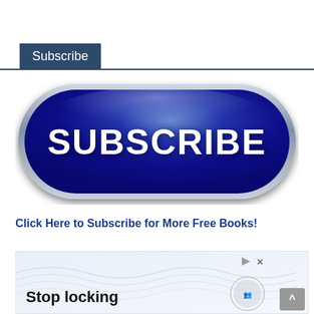Subscribe
[Figure (illustration): A large blue glossy pill-shaped subscribe button with silver metallic border and the word SUBSCRIBE in bold white text]
Click Here to Subscribe for More Free Books!
[Figure (infographic): Advertisement banner with wave pattern background, text 'Stop locking', a circular crowd figure, play and close icons, and a scroll-up chevron button]